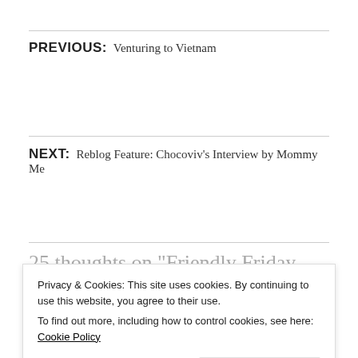PREVIOUS: Venturing to Vietnam
NEXT: Reblog Feature: Chocoviv's Interview by Mommy Me
25 thoughts on “Friendly Friday Photo Challenge: Fruit”
Privacy & Cookies: This site uses cookies. By continuing to use this website, you agree to their use.
To find out more, including how to control cookies, see here: Cookie Policy
Durian is amazing! I love this aromatic fruit. It